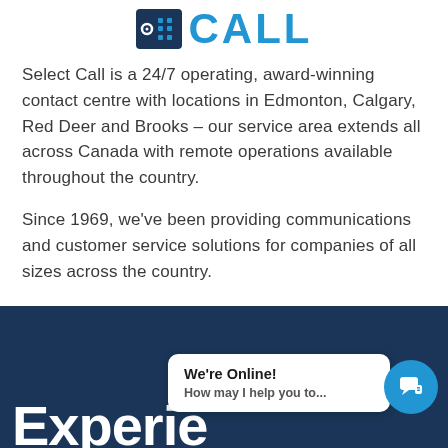[Figure (logo): Select Call logo: dark navy square icon with dot pattern on left, bold blue 'CALL' text on right]
Select Call is a 24/7 operating, award-winning contact centre with locations in Edmonton, Calgary, Red Deer and Brooks – our service area extends all across Canada with remote operations available throughout the country.
Since 1969, we've been providing communications and customer service solutions for companies of all sizes across the country.
[Figure (screenshot): Dark navy blue banner section with 'Experie' (truncated large white bold text at bottom left), a white chat bubble popup saying 'We're Online! How may I help you to...' and a blue circle chat icon on the right.]